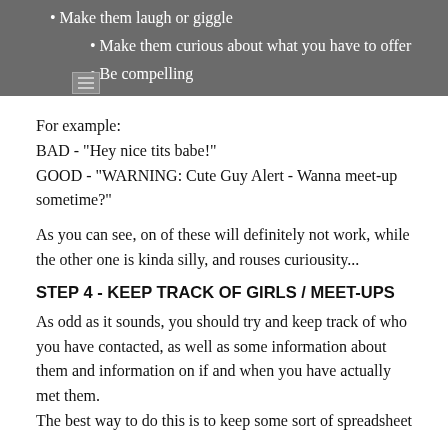Make them laugh or giggle
Make them curious about what you have to offer
Be compelling
For example:
BAD - "Hey nice tits babe!"
GOOD - "WARNING: Cute Guy Alert - Wanna meet-up sometime?"
As you can see, on of these will definitely not work, while the other one is kinda silly, and rouses curiousity...
STEP 4 - KEEP TRACK OF GIRLS / MEET-UPS
As odd as it sounds, you should try and keep track of who you have contacted, as well as some information about them and information on if and when you have actually met them.
The best way to do this is to keep some sort of spreadsheet